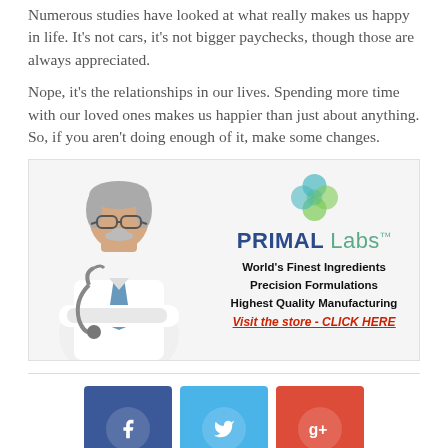Numerous studies have looked at what really makes us happy in life. It's not cars, it's not bigger paychecks, though those are always appreciated.
Nope, it's the relationships in our lives. Spending more time with our loved ones makes us happier than just about anything. So, if you aren't doing enough of it, make some changes.
[Figure (illustration): Advertisement banner for Primal Labs showing a doctor in white coat with stethoscope on the left, and the Primal Labs logo with taglines 'World's Finest Ingredients, Precision Formulations, Highest Quality Manufacturing' and a red italic CTA 'Visit the store - CLICK HERE' on the right.]
[Figure (infographic): Social media sharing buttons: Facebook (dark blue), Twitter (light blue), Google+ (red), each with their respective icons inside circles.]